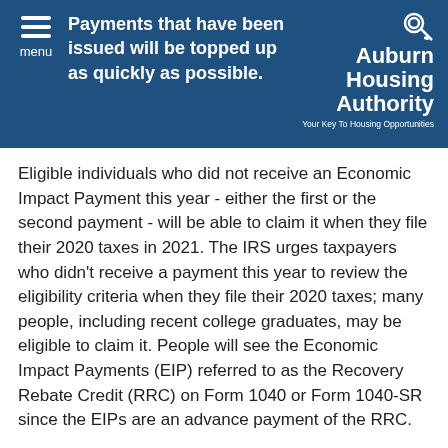Payments that have been issued will be topped up as quickly as possible.
Eligible individuals who did not receive an Economic Impact Payment this year - either the first or the second payment - will be able to claim it when they file their 2020 taxes in 2021. The IRS urges taxpayers who didn't receive a payment this year to review the eligibility criteria when they file their 2020 taxes; many people, including recent college graduates, may be eligible to claim it. People will see the Economic Impact Payments (EIP) referred to as the Recovery Rebate Credit (RRC) on Form 1040 or Form 1040-SR since the EIPs are an advance payment of the RRC.
"Throughout this challenging year, the IRS has worked around the clock to provide Economic Impact Payments to...